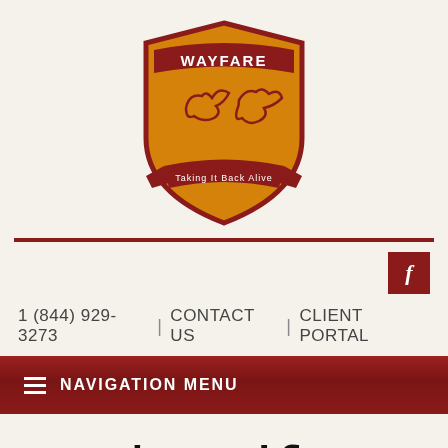[Figure (logo): Wayfare shield logo with two birds (swifts) on an orange/gold shield with red banner, text 'WAYFARE' at top]
1 (844) 929-3273 | CONTACT US | CLIENT PORTAL
NAVIGATION MENU
Vaux's Swift
Wayfare's Most Wanted